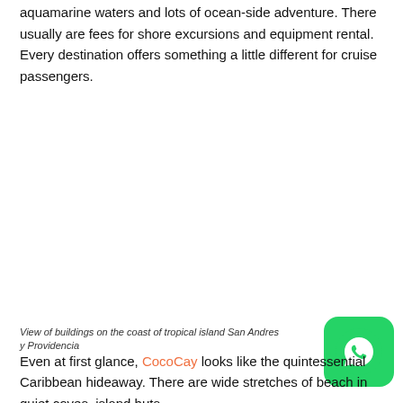aquamarine waters and lots of ocean-side adventure. There usually are fees for shore excursions and equipment rental. Every destination offers something a little different for cruise passengers.
[Figure (photo): Two people sitting at the edge of a pool with their legs in the water, holding bowls and plates of tropical fruit including papaya, pineapple, dragon fruit, passion fruit, and watermelon. The water is bright turquoise blue.]
View of buildings on the coast of tropical island San Andres y Providencia
Even at first glance, CocoCay looks like the quintessential Caribbean hideaway. There are wide stretches of beach in quiet coves, island huts